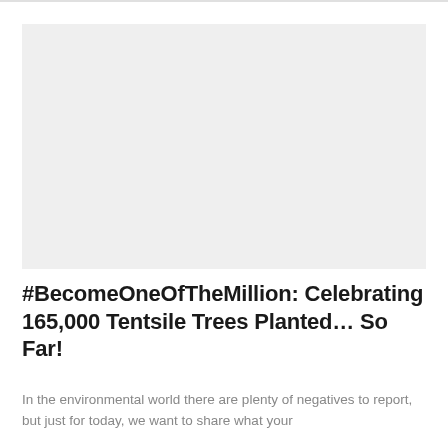[Figure (photo): Large light gray placeholder image area at the top of the page]
#BecomeOneOfTheMillion: Celebrating 165,000 Tentsile Trees Planted… So Far!
In the environmental world there are plenty of negatives to report, but just for today, we want to share what your